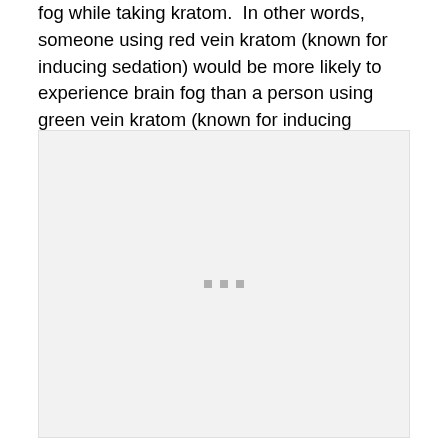fog while taking kratom.  In other words, someone using red vein kratom (known for inducing sedation) would be more likely to experience brain fog than a person using green vein kratom (known for inducing stimulation).
[Figure (other): A large light gray placeholder image box with three small gray square dots centered near the middle-bottom area of the box.]